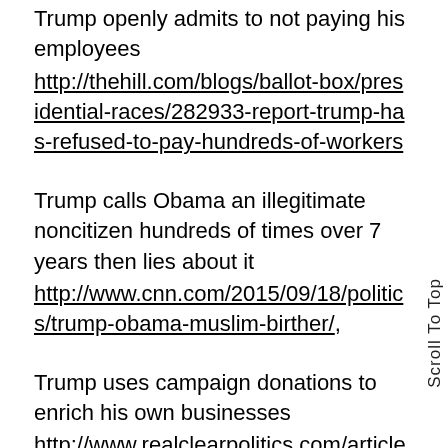Trump openly admits to not paying his employees http://thehill.com/blogs/ballot-box/presidential-races/282933-report-trump-has-refused-to-pay-hundreds-of-workers
Trump calls Obama an illegitimate noncitizen hundreds of times over 7 years then lies about it http://www.cnn.com/2015/09/18/politics/trump-obama-muslim-birther/,
Trump uses campaign donations to enrich his own businesses http://www.realclearpolitics.com/articles/2016/10/04/trump_used_foundation_funds_for_2016_run_filings